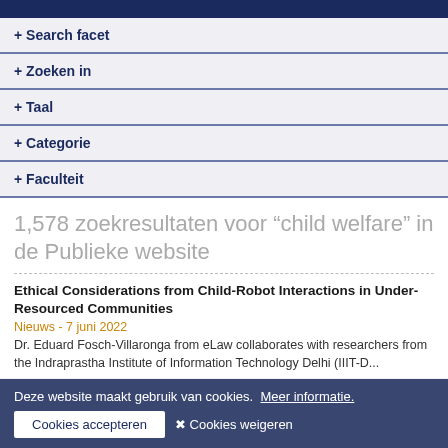+ Search facet
+ Zoeken in
+ Taal
+ Categorie
+ Faculteit
1,578 zoekresultaten voor “child welfare” in de Publieke website
Ethical Considerations from Child-Robot Interactions in Under-Resourced Communities
Nieuws - 7 juni 2022
Dr. Eduard Fosch-Villaronga from eLaw collaborates with researchers from the Indraprastha Institute of Information Technology Delhi (IIIT-Delhi)...
Deze website maakt gebruik van cookies. Meer informatie.
Cookies accepteren   ✖ Cookies weigeren